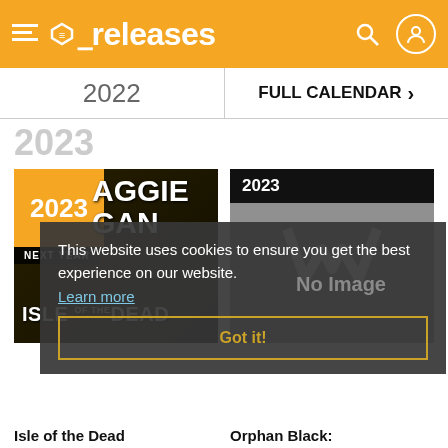releases
2022
FULL CALENDAR >
2023
[Figure (photo): Isle of the Dead TV show card with 2023 label, orange block with year, NEXT YEAR label, Maggie text overlay, ISLE OF THE DEAD title]
[Figure (photo): Orphan Black show card with 2023 label, grey background, logo, No Image placeholder]
This website uses cookies to ensure you get the best experience on our website. Learn more
Got it!
Isle of the Dead
Orphan Black: